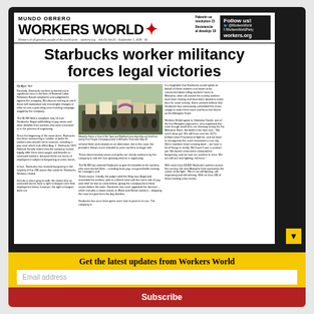MUNDO OBRERO WORKERS WORLD
Starbucks worker militancy forces legal victories
By Ajjun Nul. Recently, Starbucks workers achieved more significant wins in the form of National Labor Relations Board complaints and judgements against the company...
[Figure (photo): Workers holding signs at Memphis Trees and Highland store protest during Poor People Campaign Memphis Tennessee May 20]
Memphis Scene in front of the Trees and Highland store days they are fired from during Poor People Campaign protest in Memphis Tennessee May 20.
Get the latest updates from Workers World
Email address
Subscribe